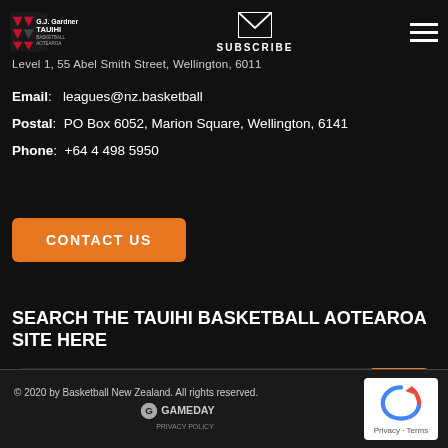[Figure (logo): Tauihi Basketball Aotearoa logo with G.J. Gardner sponsor]
SUBSCRIBE
Level 1, 55 Abel Smith Street, Wellington, 6011
Email: leagues@nz.basketball
Postal: PO Box 6052, Marion Square, Wellington, 6141
Phone: +64 4 498 5950
CONTACT US
SEARCH THE TAUIHI BASKETBALL AOTEAROA SITE HERE
Type search term here ...
© 2020 by Basketball New Zealand. All rights reserved. GAMEDAY PRIVACY POLICY